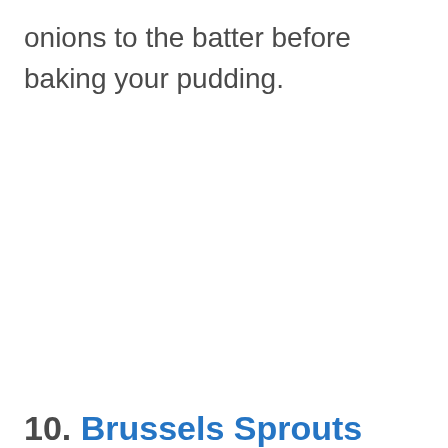onions to the batter before baking your pudding.
10. Brussels Sprouts